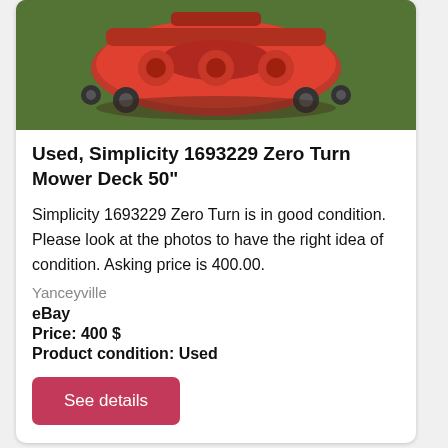[Figure (photo): Photo of a red zero turn mower deck (Simplicity 1693229) sitting on grass, viewed from front/above, red metal deck with wheels visible]
Used, Simplicity 1693229 Zero Turn Mower Deck 50"
Simplicity 1693229 Zero Turn is in good condition. Please look at the photos to have the right idea of condition. Asking price is 400.00.
Yanceyville
eBay
Price: 400 $
Product condition: Used
See details